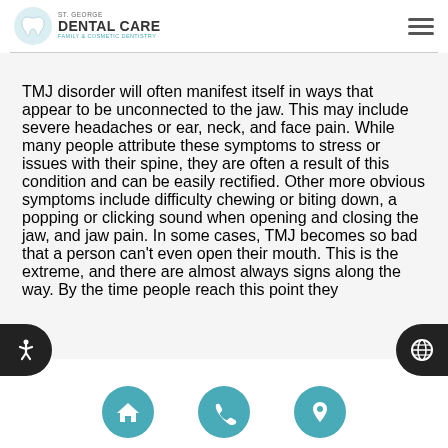[Figure (logo): St. George Dental Care logo with tooth icon]
TMJ disorder will often manifest itself in ways that appear to be unconnected to the jaw. This may include severe headaches or ear, neck, and face pain. While many people attribute these symptoms to stress or issues with their spine, they are often a result of this condition and can be easily rectified. Other more obvious symptoms include difficulty chewing or biting down, a popping or clicking sound when opening and closing the jaw, and jaw pain. In some cases, TMJ becomes so bad that a person can't even open their mouth. This is the extreme, and there are almost always signs along the way. By the time people reach this point they